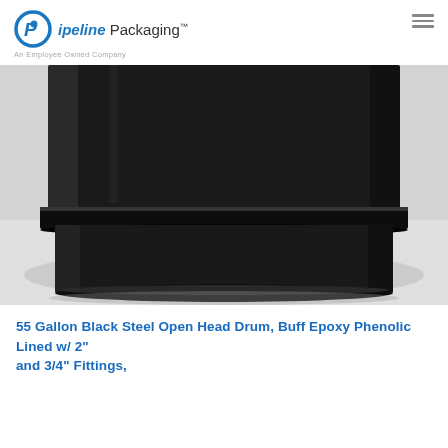Pipeline Packaging™ — An Employee Owned Company
[Figure (photo): Close-up photo of the bottom portion of a 55 gallon black steel open head drum with a rolling hoop/chime ring, photographed against a light gray/white background.]
55 Gallon Black Steel Open Head Drum, Buff Epoxy Phenolic Lined w/ 2" and 3/4" Fittings,